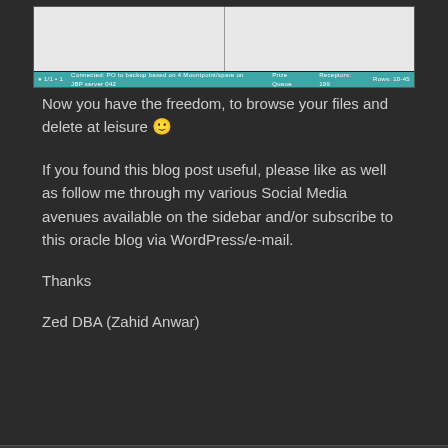[Figure (screenshot): Screenshot of a file browser or database tool with two-pane layout and teal status bar at the bottom]
Now you have the freedom, to browse your files and delete at leisure 🙂
If you found this blog post useful, please like as well as follow me through my various Social Media avenues available on the sidebar and/or subscribe to this oracle blog via WordPress/e-mail.
Thanks
Zed DBA (Zahid Anwar)